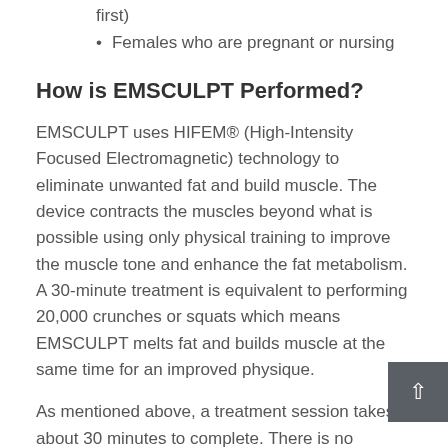first)
Females who are pregnant or nursing
How is EMSCULPT Performed?
EMSCULPT uses HIFEM® (High-Intensity Focused Electromagnetic) technology to eliminate unwanted fat and build muscle. The device contracts the muscles beyond what is possible using only physical training to improve the muscle tone and enhance the fat metabolism. A 30-minute treatment is equivalent to performing 20,000 crunches or squats which means EMSCULPT melts fat and builds muscle at the same time for an improved physique.
As mentioned above, a treatment session takes about 30 minutes to complete. There is no preparation patients need to perform before having the treatment. The electromagnetic